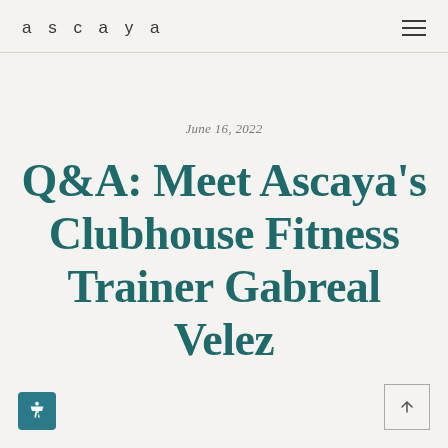ascaya
June 16, 2022
Q&A: Meet Ascaya's Clubhouse Fitness Trainer Gabreal Velez